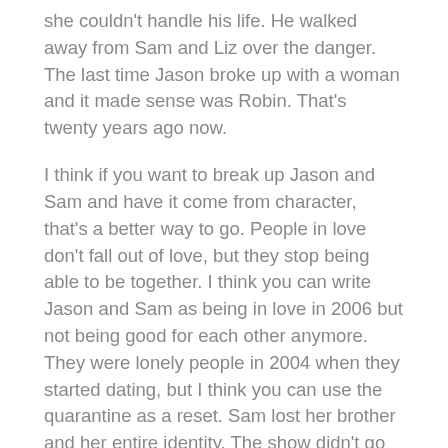she couldn't handle his life. He walked away from Sam and Liz over the danger. The last time Jason broke up with a woman and it made sense was Robin. That's twenty years ago now.
I think if you want to break up Jason and Sam and have it come from character, that's a better way to go. People in love don't fall out of love, but they stop being able to be together. I think you can write Jason and Sam as being in love in 2006 but not being good for each other anymore. They were lonely people in 2004 when they started dating, but I think you can use the quarantine as a reset. Sam lost her brother and her entire identity. The show didn't go far enough in showing how this could have her questioning herself and really forcing her to do more.
2006-08 Sam is my favorite. She reminded me of early Carly — she's so vulnerable, so damaged that she plasters